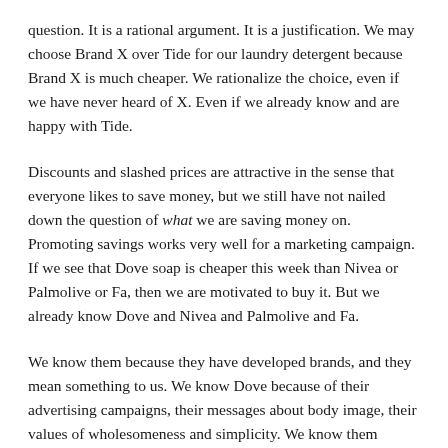question. It is a rational argument. It is a justification. We may choose Brand X over Tide for our laundry detergent because Brand X is much cheaper. We rationalize the choice, even if we have never heard of X. Even if we already know and are happy with Tide.
Discounts and slashed prices are attractive in the sense that everyone likes to save money, but we still have not nailed down the question of what we are saving money on. Promoting savings works very well for a marketing campaign. If we see that Dove soap is cheaper this week than Nivea or Palmolive or Fa, then we are motivated to buy it. But we already know Dove and Nivea and Palmolive and Fa.
We know them because they have developed brands, and they mean something to us. We know Dove because of their advertising campaigns, their messages about body image, their values of wholesomeness and simplicity. We know them because we remember their logo and how their name is